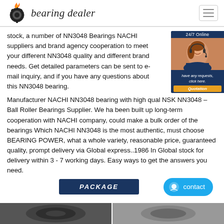bearing dealer
stock, a number of NN3048 Bearings NACHI suppliers and brand agency cooperation to meet your different NN3048 quality and different brand needs. Get detailed parameters can be sent to e-mail inquiry, and if you have any questions about this NN3048 bearing.
[Figure (photo): Customer service representative widget with '24/7 Online' label, a woman with headset, 'have any requests, click here.' text, and 'Quotation' button]
Manufacturer NACHI NN3048 bearing with high qual NSK NN3048 – Ball Roller Bearings Supplier. We ha been built up long-term cooperation with NACHI company, could make a bulk order of the bearings Which NACHI NN3048 is the most authentic, must choose BEARING POWER, what a whole variety, reasonable price, guaranteed quality, prompt delivery via Global express..1986 In Global stock for delivery within 3 - 7 working days. Easy ways to get the answers you need.
[Figure (other): PACKAGE button in dark blue/navy color]
[Figure (other): Contact button in blue with smiley face icon]
[Figure (photo): Bottom product images bar showing bearing product photos]